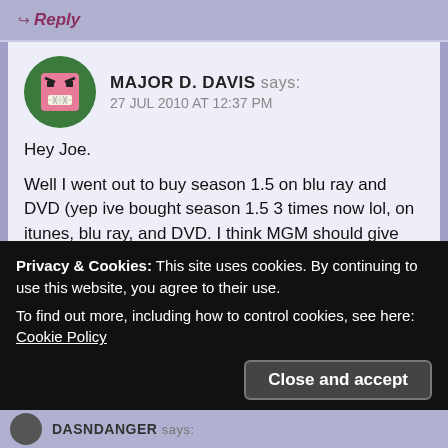↪ Reply
MAJOR D. DAVIS says: 27 JUL 2010 AT 12:37 PM
Hey Joe.

Well I went out to buy season 1.5 on blu ray and DVD (yep ive bought season 1.5 3 times now lol, on itunes, blu ray, and DVD. I think MGM should give me a medal. lol) and i started listening to the commentary on Space and you were in it! I though you said you weren't doing any
Privacy & Cookies: This site uses cookies. By continuing to use this website, you agree to their use.
To find out more, including how to control cookies, see here: Cookie Policy
[Close and accept]
DASNDANGER says: